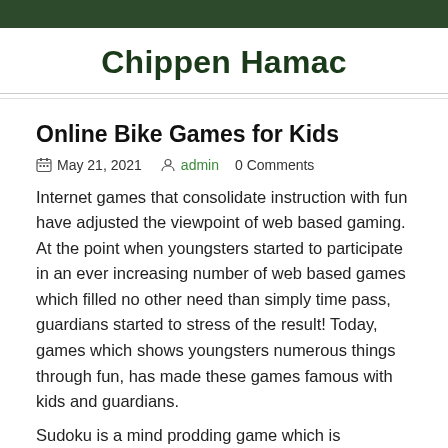Chippen Hamac
Online Bike Games for Kids
May 21, 2021   admin   0 Comments
Internet games that consolidate instruction with fun have adjusted the viewpoint of web based gaming. At the point when youngsters started to participate in an ever increasing number of web based games which filled no other need than simply time pass, guardians started to stress of the result! Today, games which shows youngsters numerous things through fun, has made these games famous with kids and guardians.
Sudoku is a mind prodding game which is unquestionable